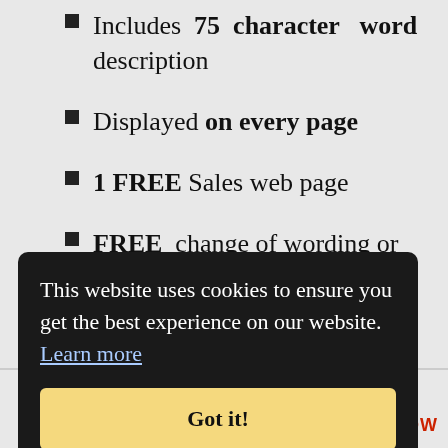Includes 75 character word description
Displayed on every page
1 FREE Sales web page
FREE change of wording or links at anytime
Discount Packages
K NOW
ount
This website uses cookies to ensure you get the best experience on our website. Learn more
Got it!